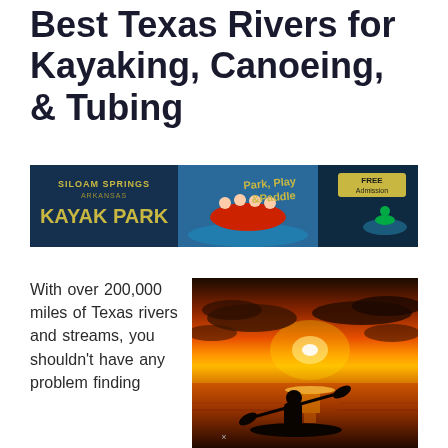Best Texas Rivers for Kayaking, Canoeing, & Tubing
[Figure (photo): Siloam Springs Arkansas Kayak Park advertisement banner showing rafters and kayakers with text 'Park, Play & Paddle' and 'FREE Admission']
With over 200,000 miles of Texas rivers and streams, you shouldn't have any problem finding
[Figure (photo): Silhouette of a kayaker paddling on water against a dramatic orange sunset sky with clouds]